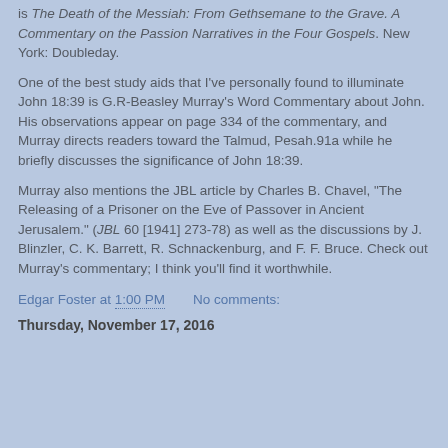is The Death of the Messiah: From Gethsemane to the Grave. A Commentary on the Passion Narratives in the Four Gospels. New York: Doubleday.
One of the best study aids that I've personally found to illuminate John 18:39 is G.R-Beasley Murray's Word Commentary about John. His observations appear on page 334 of the commentary, and Murray directs readers toward the Talmud, Pesah.91a while he briefly discusses the significance of John 18:39.
Murray also mentions the JBL article by Charles B. Chavel, "The Releasing of a Prisoner on the Eve of Passover in Ancient Jerusalem." (JBL 60 [1941] 273-78) as well as the discussions by J. Blinzler, C. K. Barrett, R. Schnackenburg, and F. F. Bruce. Check out Murray's commentary; I think you'll find it worthwhile.
Edgar Foster at 1:00 PM    No comments:
Thursday, November 17, 2016